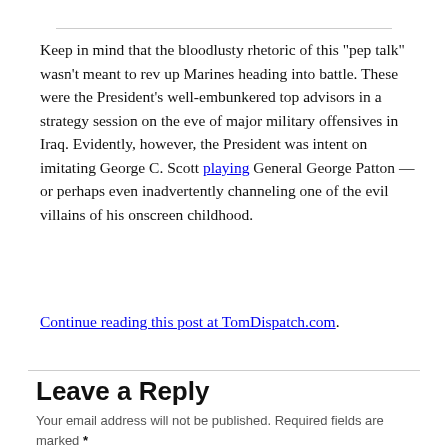Keep in mind that the bloodlusty rhetoric of this "pep talk" wasn't meant to rev up Marines heading into battle. These were the President's well-embunkered top advisors in a strategy session on the eve of major military offensives in Iraq. Evidently, however, the President was intent on imitating George C. Scott playing General George Patton — or perhaps even inadvertently channeling one of the evil villains of his onscreen childhood.
Continue reading this post at TomDispatch.com.
Leave a Reply
Your email address will not be published. Required fields are marked *